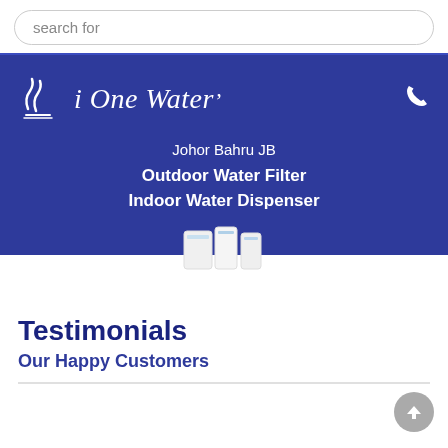search for
[Figure (screenshot): iOneWater logo on blue banner with phone icon, location text 'Johor Bahru JB', bold text 'Outdoor Water Filter Indoor Water Dispenser', and product image peek at bottom]
Testimonials
Our Happy Customers